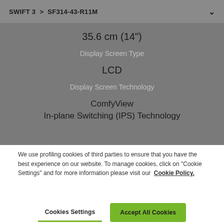SWIFT 3 > SF314-43-R11M
35.6 cm (14")
Display Screen Type
LCD
Display Screen Technology
ComfyView
In-plane Switching (IPS) Technology
We use profiling cookies of third parties to ensure that you have the best experience on our website. To manage cookies, click on "Cookie Settings" and for more information please visit our Cookie Policy.
Cookies Settings
Accept All Cookies